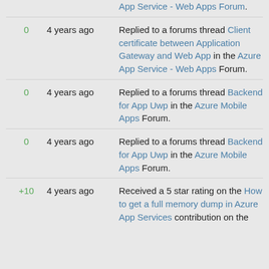App Service - Web Apps Forum.
0  4 years ago  Replied to a forums thread Client certificate between Application Gateway and Web App in the Azure App Service - Web Apps Forum.
0  4 years ago  Replied to a forums thread Backend for App Uwp in the Azure Mobile Apps Forum.
0  4 years ago  Replied to a forums thread Backend for App Uwp in the Azure Mobile Apps Forum.
+10  4 years ago  Received a 5 star rating on the How to get a full memory dump in Azure App Services contribution on the